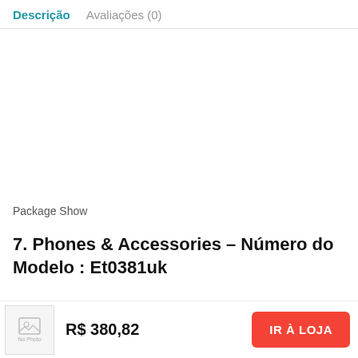Descrição  Avaliações (0)
Package Show
7. Phones & Accessories – Número do Modelo : Et0381uk
R$ 380,82
IR À LOJA